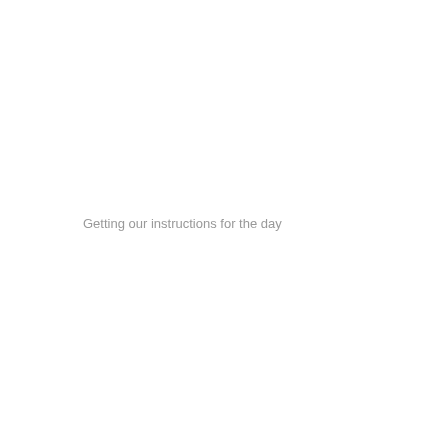Getting our instructions for the day